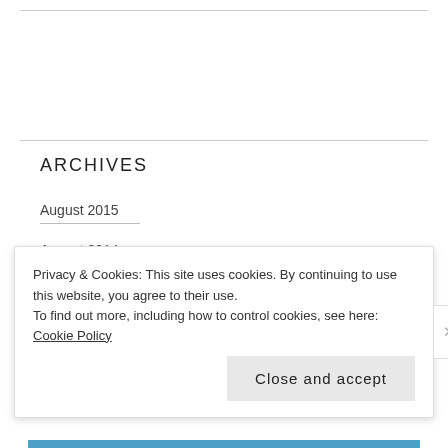ARCHIVES
August 2015
August 2014
June 2014
Privacy & Cookies: This site uses cookies. By continuing to use this website, you agree to their use.
To find out more, including how to control cookies, see here: Cookie Policy
Close and accept